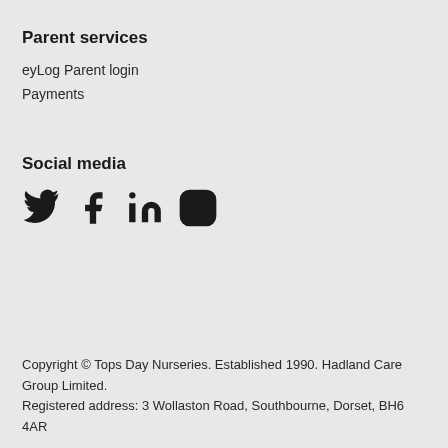Parent services
eyLog Parent login
Payments
Social media
[Figure (infographic): Social media icons: Twitter (bird), Facebook (f), LinkedIn (in), Instagram (camera)]
Copyright © Tops Day Nurseries. Established 1990. Hadland Care Group Limited.
Registered address: 3 Wollaston Road, Southbourne, Dorset, BH6 4AR